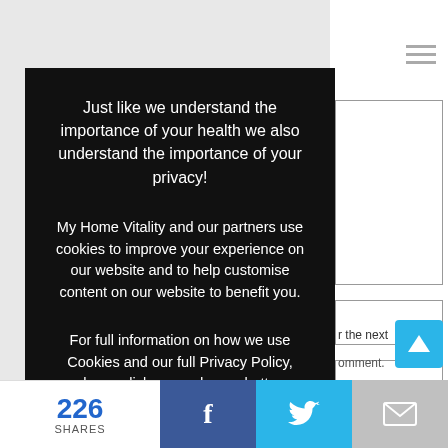[Figure (screenshot): Cookie consent overlay on a dark background showing privacy notice for My Home Vitality website, with Accept and Read More buttons]
Just like we understand the importance of your health we also understand the importance of your privacy!
My Home Vitality and our partners use cookies to improve your experience on our website and to help customise content on our website to benefit you.
For full information on how we use Cookies and our full Privacy Policy, please click on read more button below.
Accept
Read More
226 SHARES   f   [Twitter bird]   [Email]